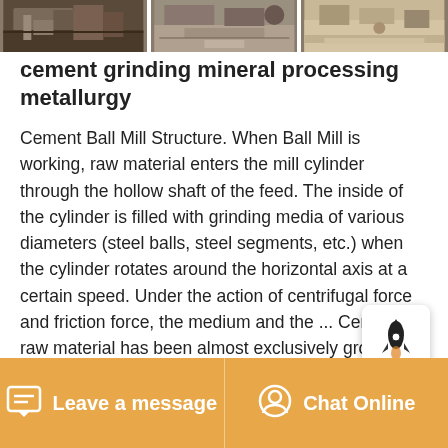[Figure (photo): Three side-by-side industrial/mining site photos at top of page showing heavy machinery and equipment]
cement grinding mineral processing metallurgy
Cement Ball Mill Structure. When Ball Mill is working, raw material enters the mill cylinder through the hollow shaft of the feed. The inside of the cylinder is filled with grinding media of various diameters (steel balls, steel segments, etc.) when the cylinder rotates around the horizontal axis at a certain speed. Under the action of centrifugal force and friction force, the medium and the ... Cement raw material has been almost exclusively ground in roller mills (vertical air-swept grinding mills) since the sec-ond half of the 20th century. Loesche was and is the pio-neer of this technology. Hundreds of Loesche mills have been used in the cement industry across the world to the present day. They operate with two, three, four and six ...
Leave a message    Chat Online